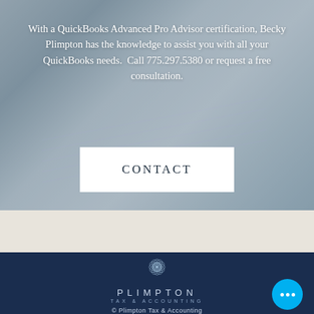With a QuickBooks Advanced Pro Advisor certification, Becky Plimpton has the knowledge to assist you with all your QuickBooks needs.  Call 775.297.5380 or request a free consultation.
CONTACT
[Figure (logo): Plimpton Tax & Accounting floral mandala logo in white outline on dark navy background]
© Plimpton Tax & Accounting